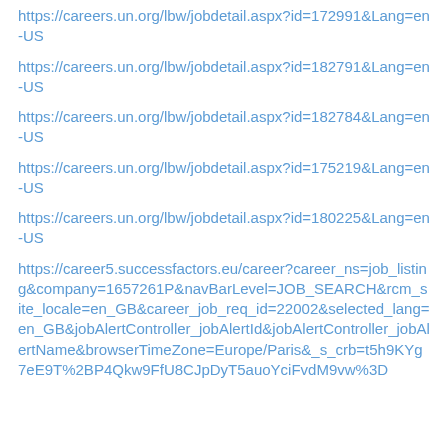https://careers.un.org/lbw/jobdetail.aspx?id=172991&Lang=en-US
https://careers.un.org/lbw/jobdetail.aspx?id=182791&Lang=en-US
https://careers.un.org/lbw/jobdetail.aspx?id=182784&Lang=en-US
https://careers.un.org/lbw/jobdetail.aspx?id=175219&Lang=en-US
https://careers.un.org/lbw/jobdetail.aspx?id=180225&Lang=en-US
https://career5.successfactors.eu/career?career_ns=job_listing&company=1657261P&navBarLevel=JOB_SEARCH&rcm_site_locale=en_GB&career_job_req_id=22002&selected_lang=en_GB&jobAlertController_jobAlertId&jobAlertController_jobAlertName&browserTimeZone=Europe/Paris&_s_crb=t5h9KYg7eE9T%2BP4Qkw9FfU8CJpDyT5auoYciFvdM9vw%3D